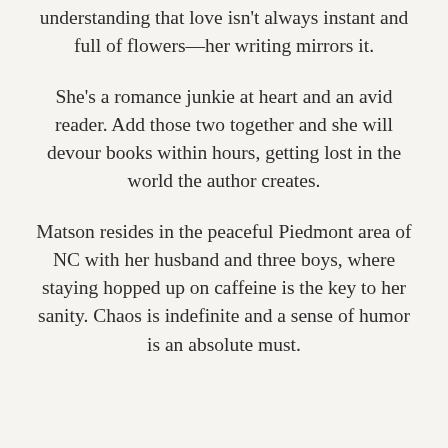understanding that love isn't always instant and full of flowers—her writing mirrors it.
She's a romance junkie at heart and an avid reader. Add those two together and she will devour books within hours, getting lost in the world the author creates.
Matson resides in the peaceful Piedmont area of NC with her husband and three boys, where staying hopped up on caffeine is the key to her sanity. Chaos is indefinite and a sense of humor is an absolute must.